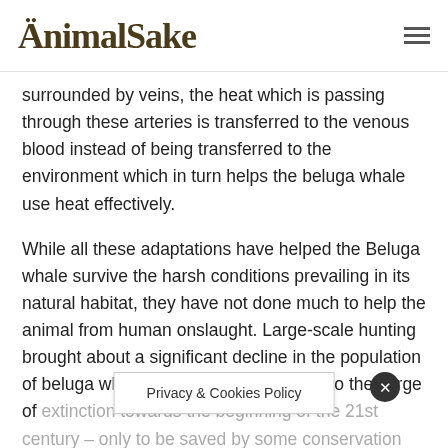AnimalSake
surrounded by veins, the heat which is passing through these arteries is transferred to the venous blood instead of being transferred to the environment which in turn helps the beluga whale use heat effectively.
While all these adaptations have helped the Beluga whale survive the harsh conditions prevailing in its natural habitat, they have not done much to help the animal from human onslaught. Large-scale hunting brought about a significant decline in the population of beluga whales, and almost pushed it to the verge of extinction towards the beginning of the 21st century – only to be saved by some conservation measures in the nick of time. The beluga whale is enlisted a… …ongoing by the…